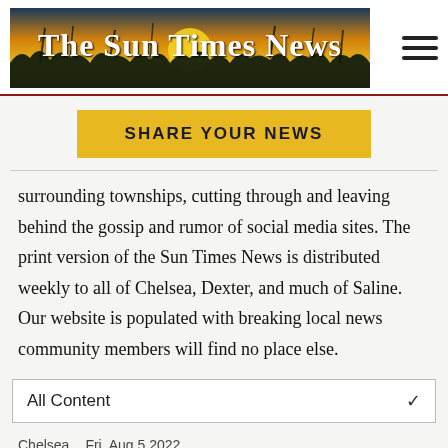[Figure (logo): The Sun Times News newspaper logo with golden sunset and dark silhouetted grass/reeds background]
SHARE YOUR NEWS
surrounding townships, cutting through and leaving behind the gossip and rumor of social media sites. The print version of the Sun Times News is distributed weekly to all of Chelsea, Dexter, and much of Saline. Our website is populated with breaking local news community members will find no place else.
All Content
Chelsea    Fri. Aug 5 2022
Weekly Road Work Aug 8–14